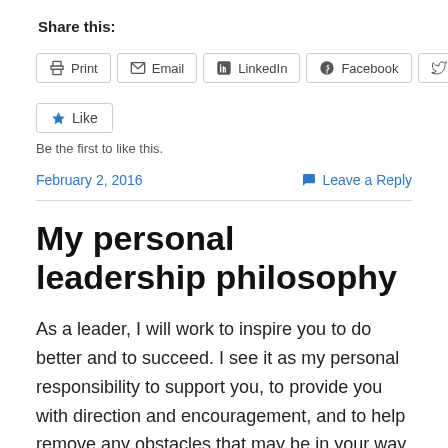Share this:
[Figure (other): Share buttons row: Print, Email, LinkedIn, Facebook, Twitter]
[Figure (other): Like button with star icon]
Be the first to like this.
February 2, 2016
Leave a Reply
My personal leadership philosophy
As a leader, I will work to inspire you to do better and to succeed. I see it as my personal responsibility to support you, to provide you with direction and encouragement, and to help remove any obstacles that may be in your way to